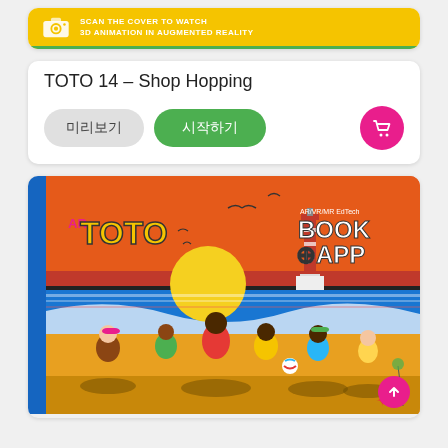[Figure (screenshot): Top book card showing yellow banner with camera icon and text 'SCAN THE COVER TO WATCH 3D ANIMATION IN AUGMENTED REALITY' with green bottom border]
TOTO 14 – Shop Hopping
미리보기 button (preview) and 시작하기 button (start) with pink cart icon button
[Figure (illustration): ARTOTO book cover illustration showing children playing on a beach at sunset with orange sky, blue sea, seagulls, a red lighthouse, and 'AR TOTO' logo and 'AR/VR/MR EdTech BOOK+APP' badge]